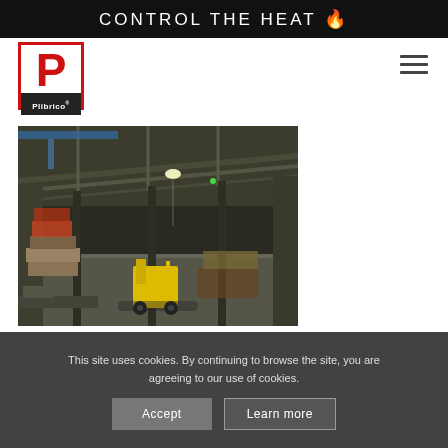CONTROL THE HEAT 🔥
[Figure (logo): Plibrico company logo: large red P on white background with red border, 'Plibrico' text on dark bar at bottom]
[Figure (photo): Interior of an industrial warehouse with steel roof trusses, overhead lighting, a yellow forklift, stacked pallets and materials on a concrete floor]
This site uses cookies. By continuing to browse the site, you are agreeing to our use of cookies.
Accept
Learn more